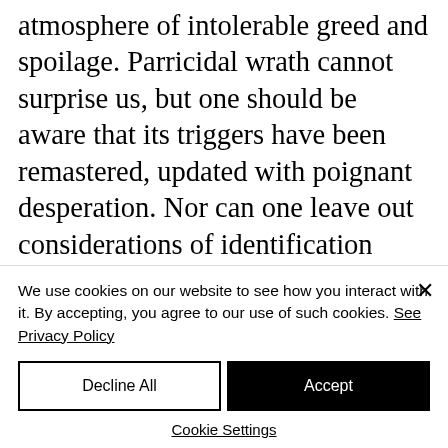atmosphere of intolerable greed and spoilage. Parricidal wrath cannot surprise us, but one should be aware that its triggers have been remastered, updated with poignant desperation. Nor can one leave out considerations of identification where children target their own unconscious complicity with destructive runs at the good breast. Resentment
We use cookies on our website to see how you interact with it. By accepting, you agree to our use of such cookies. See Privacy Policy
Decline All
Accept
Cookie Settings